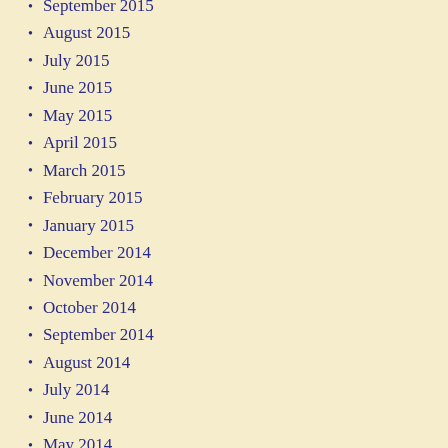September 2015
August 2015
July 2015
June 2015
May 2015
April 2015
March 2015
February 2015
January 2015
December 2014
November 2014
October 2014
September 2014
August 2014
July 2014
June 2014
May 2014
April 2014
March 2014
February 2014
January 2014
December 2013